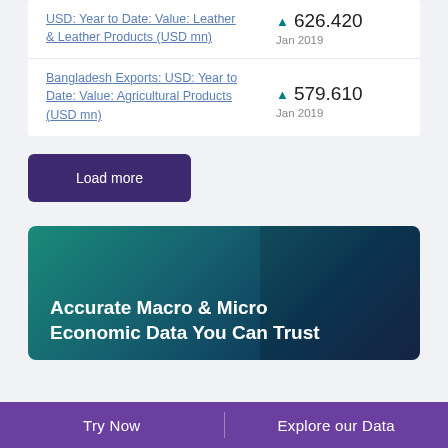USD: Year to Date: Value: Leather & Leather Products (USD mn)
▲ 626.420 Jan 2019
Bangladesh Exports: USD: Year to Date: Value: Agricultural Products (USD mn)
▲ 579.610 Jan 2019
Load more
Accurate Macro & Micro Economic Data You Can Trust
Try Now | Explore our Data